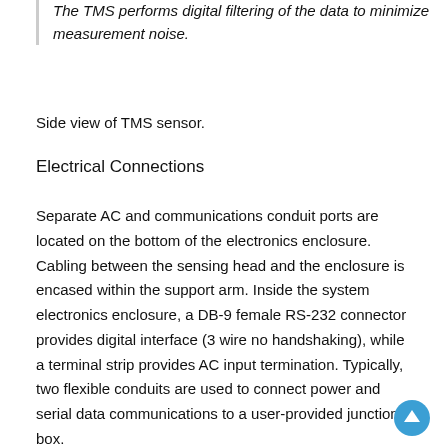The TMS performs digital filtering of the data to minimize measurement noise.
Side view of TMS sensor.
Electrical Connections
Separate AC and communications conduit ports are located on the bottom of the electronics enclosure. Cabling between the sensing head and the enclosure is encased within the support arm. Inside the system electronics enclosure, a DB-9 female RS-232 connector provides digital interface (3 wire no handshaking), while a terminal strip provides AC input termination. Typically, two flexible conduits are used to connect power and serial data communications to a user-provided junction box.